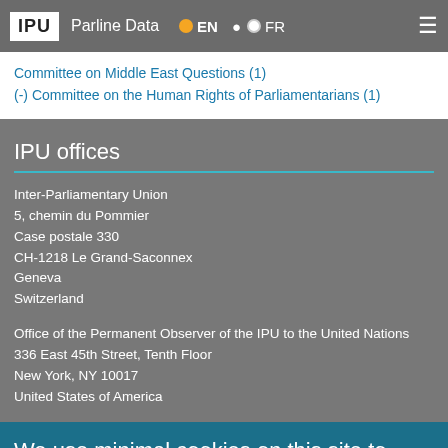IPU  Parline Data  EN  FR
Committee on Middle East Questions (1)
(-) Committee on the Human Rights of Parliamentarians (1)
IPU offices
Inter-Parliamentary Union
5, chemin du Pommier
Case postale 330
CH-1218 Le Grand-Saconnex
Geneva
Switzerland
Office of the Permanent Observer of the IPU to the United Nations
336 East 45th Street, Tenth Floor
New York, NY 10017
United States of America
We use minimal cookies on this site to enhance your user experience and record anonymous usage with Google Analytics